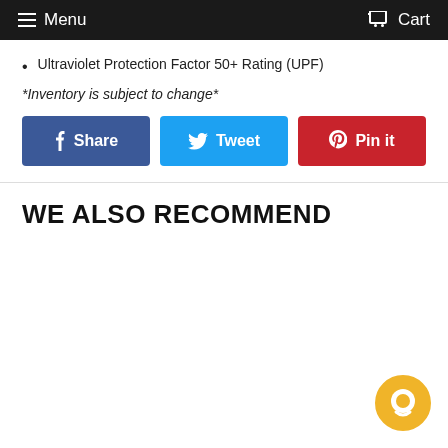Menu  Cart
Ultraviolet Protection Factor 50+ Rating (UPF)
*Inventory is subject to change*
[Figure (other): Social share buttons: Facebook Share, Twitter Tweet, Pinterest Pin it]
WE ALSO RECOMMEND
[Figure (other): Live chat bubble icon in gold/yellow color, bottom right corner]